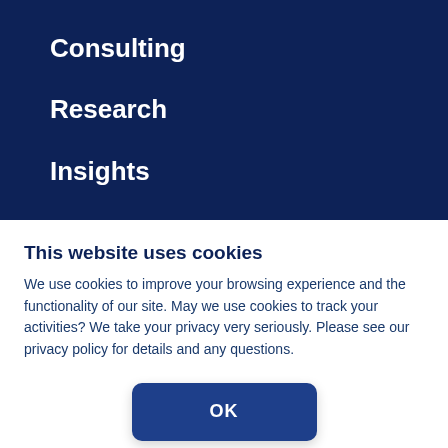Consulting
Research
Insights
This website uses cookies
We use cookies to improve your browsing experience and the functionality of our site.  May we use cookies to track your activities?  We take your privacy very seriously. Please see our privacy policy for details and any questions.
OK